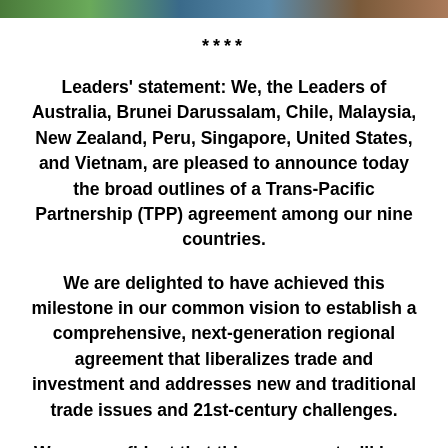[Figure (photo): Partial image strip at top of page showing people or flags]
****
Leaders' statement: We, the Leaders of Australia, Brunei Darussalam, Chile, Malaysia, New Zealand, Peru, Singapore, United States, and Vietnam, are pleased to announce today the broad outlines of a Trans-Pacific Partnership (TPP) agreement among our nine countries.
We are delighted to have achieved this milestone in our common vision to establish a comprehensive, next-generation regional agreement that liberalizes trade and investment and addresses new and traditional trade issues and 21st-century challenges.
We are confident that this agreement will be a model for ambition for other free trade agreements in the future,